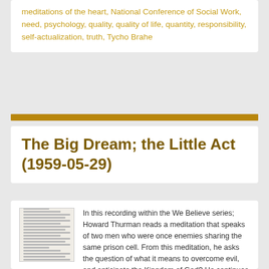meditations of the heart, National Conference of Social Work, need, psychology, quality, quality of life, quantity, responsibility, self-actualization, truth, Tycho Brahe
The Big Dream; the Little Act (1959-05-29)
[Figure (photo): Thumbnail image of a document page with multiple lines of text]
In this recording within the We Believe series; Howard Thurman reads a meditation that speaks of two men who were once enemies sharing the same prison cell. From this meditation, he asks the question of what it means to overcome evil, and anticipate the Kingdom of God? He continues that it is in the disruption of barriers of hatred that humanity builds against itself that one can begin to anticipate the